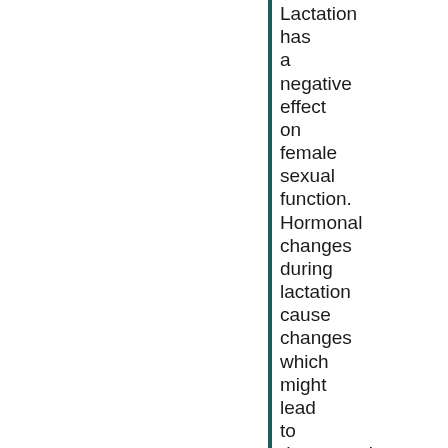Lactation has a negative effect on female sexual function. Hormonal changes during lactation cause changes which might lead to dyspareunia, lack of libido, and anorgasmia. There are